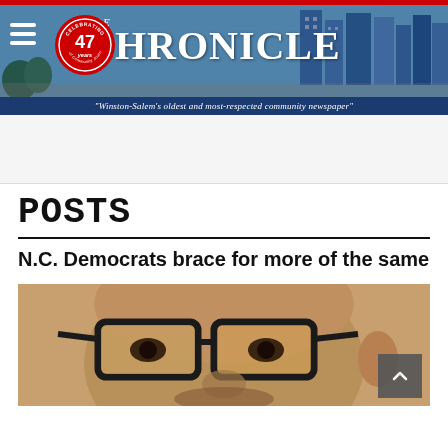[Figure (logo): The Chronicle newspaper header banner with city skyline background, 47 years celebrating community journalism badge, and newspaper title]
"Winston-Salem's oldest and most-respected community newspaper"
POSTS
N.C. Democrats brace for more of the same
[Figure (photo): Close-up photo of a man wearing dark-rimmed glasses]